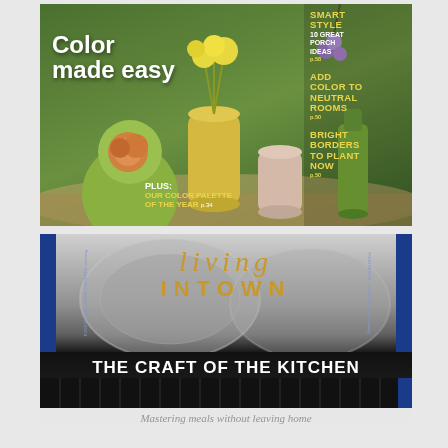[Figure (other): Magazine cover with green background, colorful vases and flowers. Text: 'Color made easy', 'SMART STYLE 10 GREAT PORCH IDEAS p.58', 'ADD COLOR TO NEUTRAL ROOMS p.50', 'BRIGHT BORDERS TO PLANT NOW p.50', 'PLUS: OUR COLOR PALETTE OF THE YEAR p.34']
[Figure (other): Magazine cover 'living INTOWN' with silver/kitchen background. Bottom section: 'THE CRAFT OF THE KITCHEN' and subtitle 'Mastering meals without leaving home']